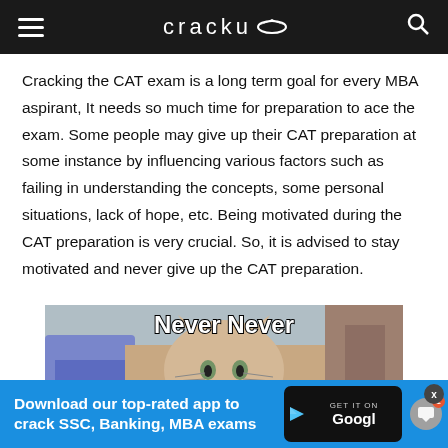cracku
Cracking the CAT exam is a long term goal for every MBA aspirant, It needs so much time for preparation to ace the exam. Some people may give up their CAT preparation at some instance by influencing various factors such as failing in understanding the concepts, some personal situations, lack of hope, etc. Being motivated during the CAT preparation is very crucial. So, it is advised to stay motivated and never give up the CAT preparation.
[Figure (photo): Meme image of a cat with text 'Never Never' overlaid at the top in bold white Impact font]
Download our top-rated app to crack SSC, Banking, MBA exams